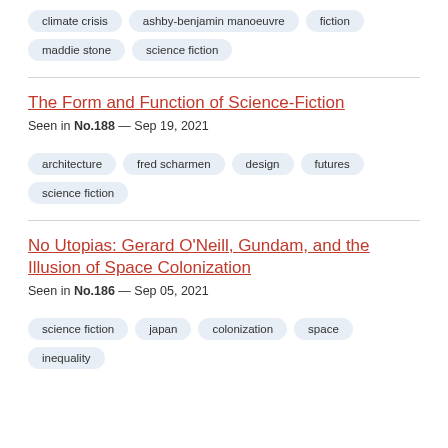climate crisis
ashby-benjamin manoeuvre
fiction
maddie stone
science fiction
The Form and Function of Science-Fiction
Seen in No.188 — Sep 19, 2021
architecture
fred scharmen
design
futures
science fiction
No Utopias: Gerard O'Neill, Gundam, and the Illusion of Space Colonization
Seen in No.186 — Sep 05, 2021
science fiction
japan
colonization
space
inequality